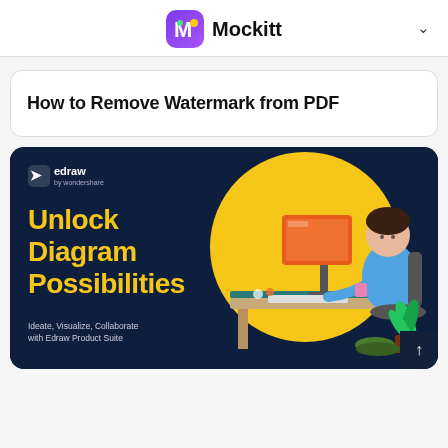Mockitt
How to Remove Watermark from PDF
[Figure (illustration): Edraw by Wondershare advertisement banner with dark navy background, yellow circle, 3D illustration of a person sitting at a desk with a computer, large yellow bold text reading 'Unlock Diagram Possibilities', edraw logo top left, subtitle 'Ideate, Visualize, Collaborate with Edraw Product Suite']